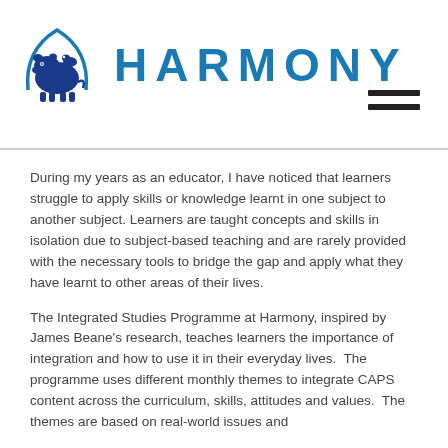[Figure (logo): Harmony school logo: blue hippo/animal silhouette under a circular arc, with the word HARMONY in bold blue uppercase letters to the right]
During my years as an educator, I have noticed that learners struggle to apply skills or knowledge learnt in one subject to another subject. Learners are taught concepts and skills in isolation due to subject-based teaching and are rarely provided with the necessary tools to bridge the gap and apply what they have learnt to other areas of their lives.
The Integrated Studies Programme at Harmony, inspired by James Beane's research, teaches learners the importance of integration and how to use it in their everyday lives.  The programme uses different monthly themes to integrate CAPS content across the curriculum, skills, attitudes and values.  The themes are based on real-world issues and